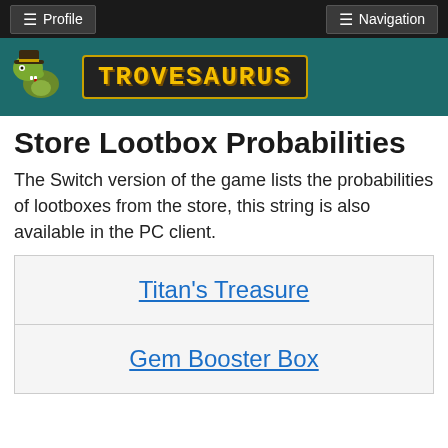≡ Profile    ≡ Navigation
[Figure (logo): Trovesaurus logo with dinosaur mascot wearing a hat and yellow pixel-font wordmark on dark background]
Store Lootbox Probabilities
The Switch version of the game lists the probabilities of lootboxes from the store, this string is also available in the PC client.
| Titan's Treasure |
| Gem Booster Box |